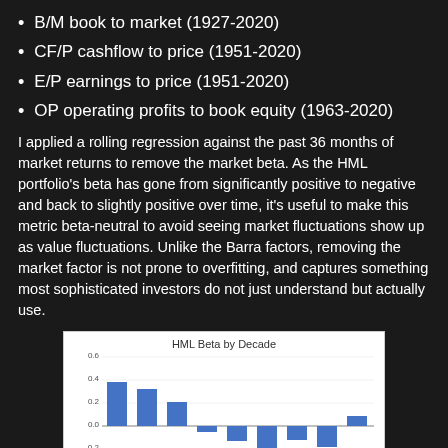B/M book to market (1927-2020)
CF/P cashflow to price (1951-2020)
E/P earnings to price (1951-2020)
OP operating profits to book equity (1963-2020)
I applied a rolling regression against the past 36 months of market returns to remove the market beta. As the HML portfolio's beta has gone from significantly positive to negative and back to slightly positive over time, it's useful to make this metric beta-neutral to avoid seeing market fluctuations show up as value fluctuations. Unlike the Barra factors, removing the market factor is not prone to overfitting, and captures something most sophisticated investors do not just understand but actually use.
[Figure (bar-chart): HML Beta by Decade]